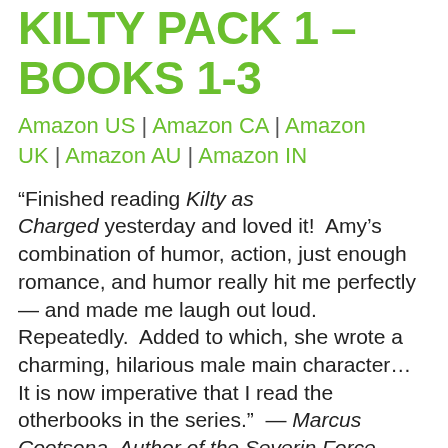KILTY PACK 1 – BOOKS 1-3
Amazon US | Amazon CA | Amazon UK | Amazon AU | Amazon IN
“Finished reading Kilty as Charged yesterday and loved it!  Amy’s combination of humor, action, just enough romance, and humor really hit me perfectly — and made me laugh out loud.  Repeatedly.  Added to which, she wrote a charming, hilarious male main character… It is now imperative that I read the otherbooks in the series.”  — Marcus Cootsona, Author of the Severin Force Political Thrillers & Simpler, Smarter